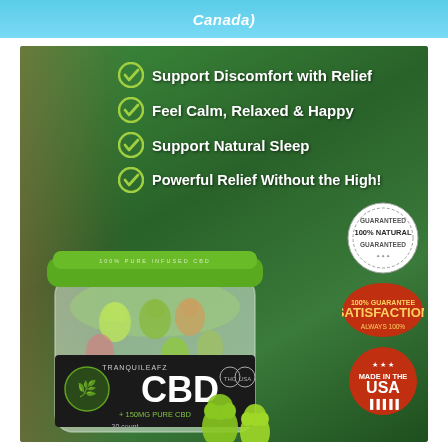Canada)
[Figure (photo): CBD gummy bear product advertisement. Green background with checkmark bullet points listing benefits: Support Discomfort with Relief, Feel Calm, Relaxed & Happy, Support Natural Sleep, Powerful Relief Without the High! Shows a jar of TranquiLeafz CBD gummies (150mg Pure CBD, 30 count) with green gummy bears. Badges show 100% Natural Guaranteed, Satisfaction, Made in the USA.]